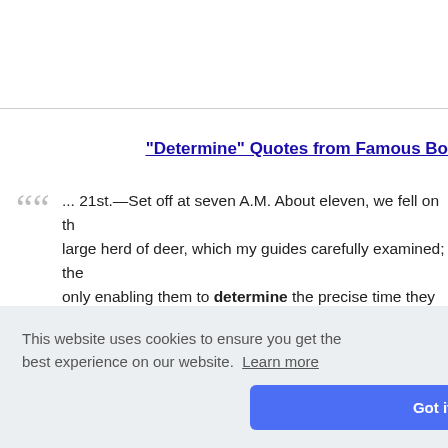"Determine" Quotes from Famous Bo
... 21st.—Set off at seven A.M. About eleven, we fell on the large herd of deer, which my guides carefully examined; the only enabling them to determine the precise time they had p... ey affirmed... g the mea...
This website uses cookies to ensure you get the best experience on our website. Learn more
Got it!
udson's Ba